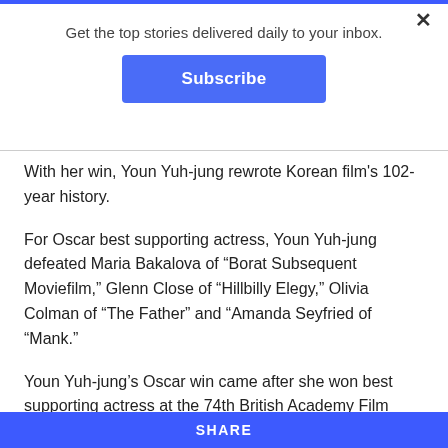Get the top stories delivered daily to your inbox.
Subscribe
With her win, Youn Yuh-jung rewrote Korean film's 102-year history.
For Oscar best supporting actress, Youn Yuh-jung defeated Maria Bakalova of “Borat Subsequent Moviefilm,” Glenn Close of “Hillbilly Elegy,” Olivia Colman of “The Father” and “Amanda Seyfried of “Mank.”
Youn Yuh-jung’s Oscar win came after she won best supporting actress at the 74th British Academy Film Awards (BAFTAs) held on April 11 and at the 27th
SHARE